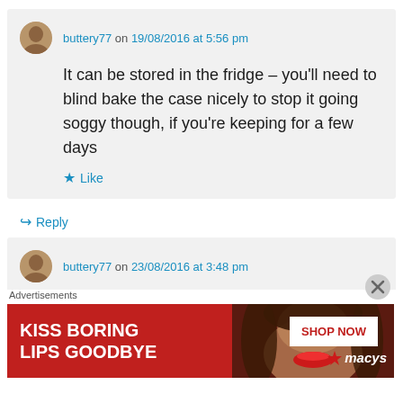buttery77 on 19/08/2016 at 5:56 pm
It can be stored in the fridge – you'll need to blind bake the case nicely to stop it going soggy though, if you're keeping for a few days
Like
Reply
buttery77 on 23/08/2016 at 3:48 pm
Advertisements
[Figure (photo): Advertisement banner: KISS BORING LIPS GOODBYE with SHOP NOW button and Macys star logo, red background with woman's face]